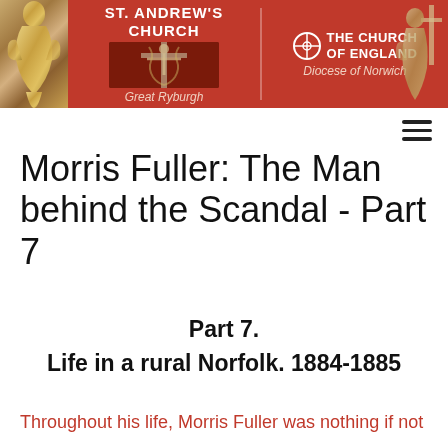[Figure (photo): Church website header banner showing St. Andrew's Church, Great Ryburgh, with The Church of England Diocese of Norwich logo on red background, flanked by decorative statues]
Morris Fuller: The Man behind the Scandal - Part 7
Part 7.
Life in a rural Norfolk. 1884-1885
Throughout his life, Morris Fuller was nothing if not